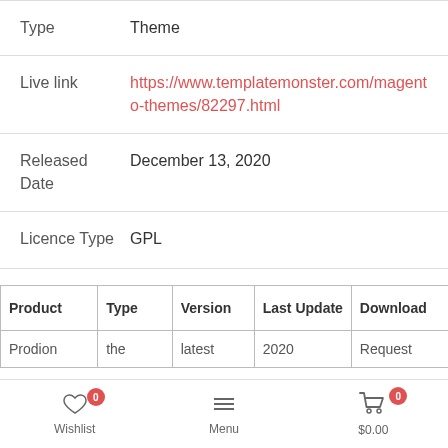| Type | Theme |
| Live link | https://www.templatemonster.com/magento-themes/82297.html |
| Released Date | December 13, 2020 |
| Licence Type | GPL |
| Product | Type | Version | Last Update | Download |
| --- | --- | --- | --- | --- |
| Prodion | the | latest | 2020 | Request |
Wishlist 0   Menu   $0.00 0